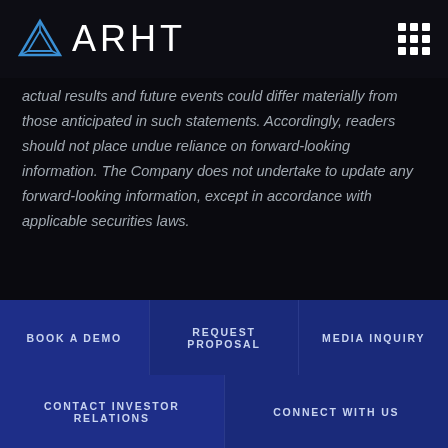ARHT
actual results and future events could differ materially from those anticipated in such statements. Accordingly, readers should not place undue reliance on forward-looking information. The Company does not undertake to update any forward-looking information, except in accordance with applicable securities laws.
NEITHER THE TSX VENTURE EXCHANGE NOR ITS REGULATION SERVICES PROVIDER (AS THAT TERM IS
BOOK A DEMO
REQUEST PROPOSAL
MEDIA INQUIRY
CONTACT INVESTOR RELATIONS
CONNECT WITH US